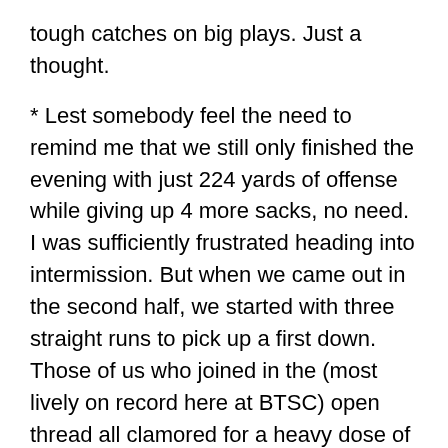tough catches on big plays. Just a thought.
* Lest somebody feel the need to remind me that we still only finished the evening with just 224 yards of offense while giving up 4 more sacks, no need. I was sufficiently frustrated heading into intermission. But when we came out in the second half, we started with three straight runs to pick up a first down. Those of us who joined in the (most lively on record here at BTSC) open thread all clamored for a heavy dose of the running game to start the second half. We did just that, even managing to convert on a crucial (and ugly) plunge from Najeh Davenport. Then on first down, when the Skins were likely looking run again, we hit them deep on the aforementioned perfectly thrown pass by Leftwich. Bruce Arians again had his low moments tonight, but well done on the initial script out